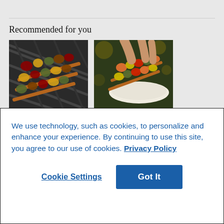Recommended for you
[Figure (photo): Grilled vegetable and meat skewers on a grill grate, overhead view]
[Figure (photo): Hands holding a plate with colorful vegetable and meat skewers, party setting]
We use technology, such as cookies, to personalize and enhance your experience. By continuing to use this site, you agree to our use of cookies. Privacy Policy
Cookie Settings
Got It